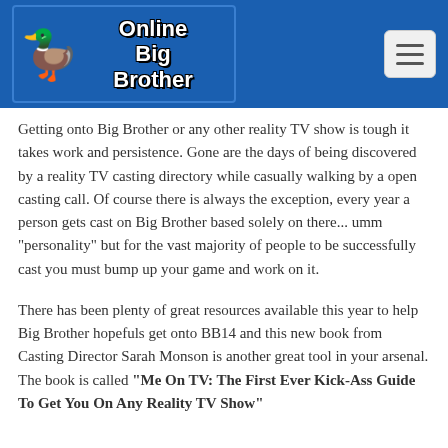[Figure (logo): Online Big Brother website logo with a rubber duck wearing sunglasses and a hat on a blue background]
Getting onto Big Brother or any other reality TV show is tough it takes work and persistence. Gone are the days of being discovered by a reality TV casting directory while casually walking by a open casting call. Of course there is always the exception, every year a person gets cast on Big Brother based solely on there... umm “personality” but for the vast majority of people to be successfully cast you must bump up your game and work on it.
There has been plenty of great resources available this year to help Big Brother hopefuls get onto BB14 and this new book from Casting Director Sarah Monson is another great tool in your arsenal. The book is called “Me On TV: The First Ever Kick-Ass Guide To Get You On Any Reality TV Show”